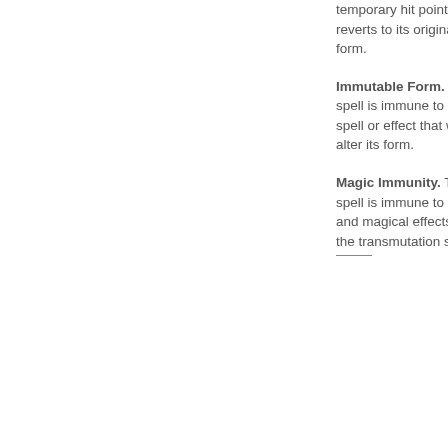temporary hit points and reverts to its original form.
Immutable Form. The spell is immune to any spell or effect that would alter its form.
Magic Immunity. The spell is immune to spells and magical effects from the transmutation school.